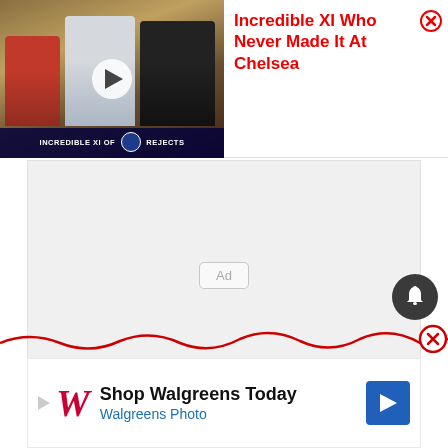[Figure (screenshot): Video thumbnail showing three football players with text overlay 'INCREDIBLE XI OF CHELSEA REJECTS']
Incredible XI Who Never Made It At Chelsea
[Figure (other): Middle ad placeholder area with 'Ad' label]
[Figure (other): Bell notification button (dark circular)]
[Figure (other): Red wavy dismiss line with X close button]
[Figure (other): Bottom Walgreens advertisement: 'Shop Walgreens Today / Walgreens Photo' with blue arrow button]